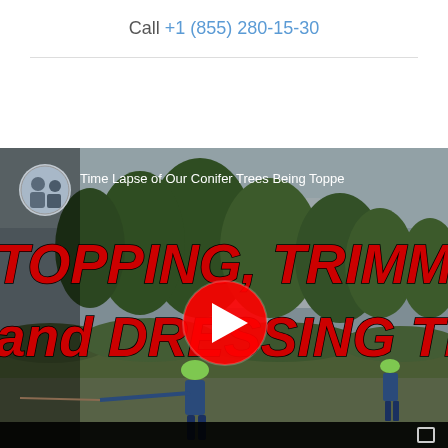Call +1 (855) 280-15-30
[Figure (screenshot): YouTube video thumbnail showing workers topping, trimming and dressing conifer trees. Large red italic text reads 'TOPPING, TRIMM...' and 'and DRESSING TH...' overlaid on a garden scene with trees and workers in safety gear. A YouTube play button is visible in the center. Video title at top reads 'Time Lapse of Our Conifer Trees Being Topped...']